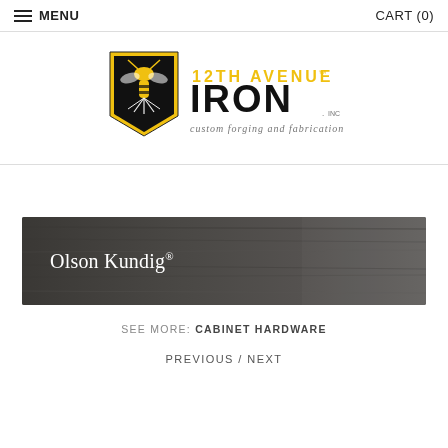≡ MENU   CART (0)
[Figure (logo): 12th Avenue Iron logo: shield shape with yellow/black wasp-like icon, text '12TH AVENUE IRON inc. custom forging and fabrication']
[Figure (photo): Dark textured metal/wood panel banner with white text 'Olson Kundig®']
SEE MORE: CABINET HARDWARE
PREVIOUS / NEXT